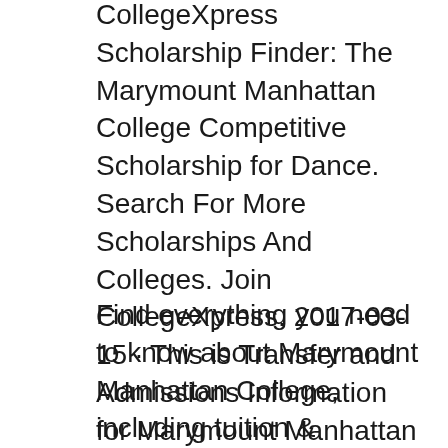CollegeXpress Scholarship Finder: The Marymount Manhattan College Competitive Scholarship for Dance. Search For More Scholarships And Colleges. Join CollegeXpress. 2017-03-15 · This is Transfer and Admissions Information for Marymount Manhattan College. Students can compare College and University transfer information before
Find everything you need to know about Marymount Manhattan College, including tuition & financial aid, student life, application info, academics & more. TUN is an advocate for college students. Deadlines: You can apply up to two times during the 2018-19 school year.